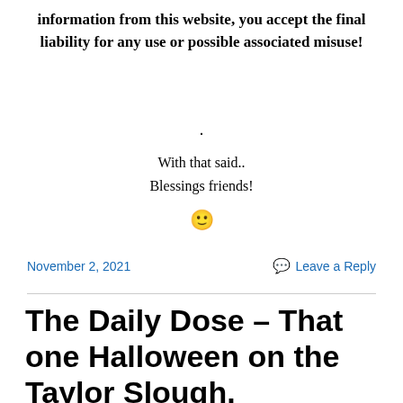information from this website, you accept the final liability for any use or possible associated misuse!
.
With that said..
Blessings friends!
🙂
November 2, 2021
Leave a Reply
The Daily Dose – That one Halloween on the Taylor Slough.